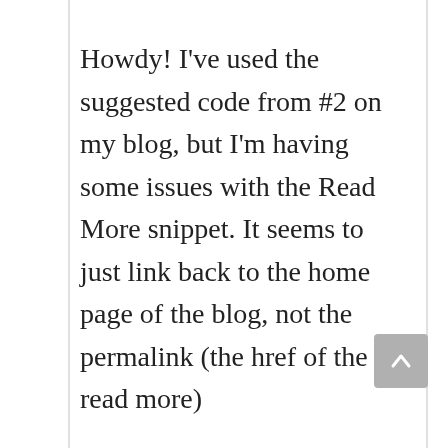Howdy! I've used the suggested code from #2 on my blog, but I'm having some issues with the Read More snippet. It seems to just link back to the home page of the blog, not the permalink (the href of the read more)
Is '.$permalink.' referencing something I don't have built into my functions? OR what is going haywire here. Thanks so much for the snippet, it's just what I was looking for!
The site for reference is